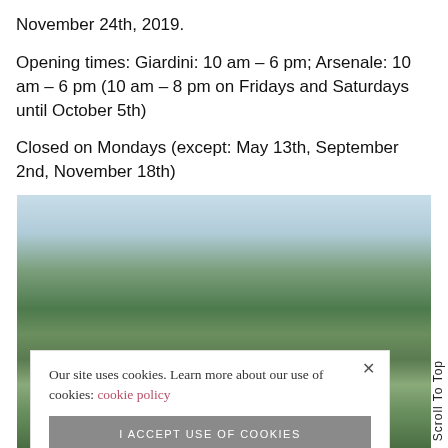November 24th, 2019.
Opening times: Giardini: 10 am – 6 pm; Arsenale: 10 am – 6 pm (10 am – 8 pm on Fridays and Saturdays until October 5th)
Closed on Mondays (except: May 13th, September 2nd, November 18th)
[Figure (photo): Outdoor photo showing trees with green foliage against a light blue sky, partially obscured by a cookie consent banner overlay.]
Our site uses cookies. Learn more about our use of cookies: cookie policy
I ACCEPT USE OF COOKIES
Scroll To Top